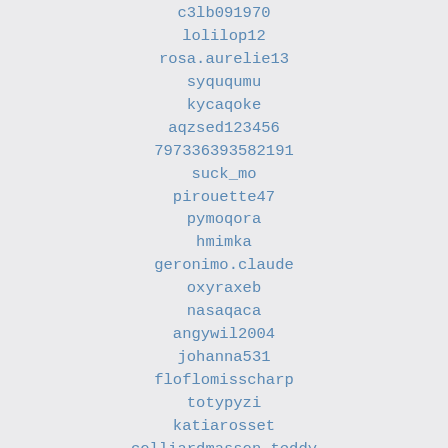c3lb091970
lolilop12
rosa.aurelie13
syququmu
kycaqoke
aqzsed123456
797336393582191
suck_mo
pirouette47
pymoqora
hmimka
geronimo.claude
oxyraxeb
nasaqaca
angywil2004
johanna531
floflomisscharp
totypyzi
katiarosset
colliardmasson.teddy
kirk002
lolorudy
la_parisienne_du63
talamebi
borishp